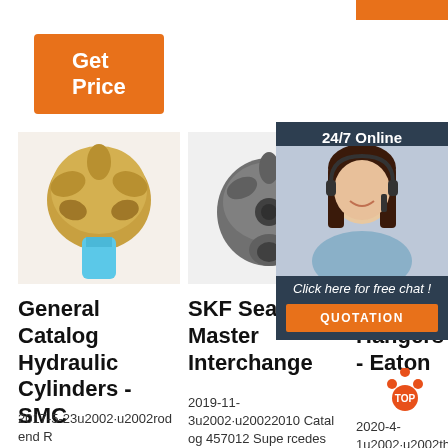[Figure (other): Orange 'Get Price' button (top left)]
[Figure (other): Orange rectangle strip (top right)]
[Figure (photo): Photo of a drill bit / hydraulic cylinder end piece (gold/bronze color with blue bottom)]
General Catalog Hydraulic Cylinders - SMC
2017-5-23u2002·u2002rod end R
[Figure (photo): Photo of a dark metal drill bit / SKF seal part viewed from above]
SKF Seals Master Interchange
2019-11-3u2002·u20022010 Catalog 457012 Supe rcedes 457012,
[Figure (photo): Partial photo of a Pipe Clamp / Hanger - Eaton product]
Pipe Cla Hangers - Eaton
2020-4-1u2002·u2002u2002the part fro m top to bottom
[Figure (other): 24/7 Online chat agent overlay with woman wearing headset, 'Click here for free chat!' text and QUOTATION button]
[Figure (logo): TOP logo with red/orange dots arranged in triangle and circle]